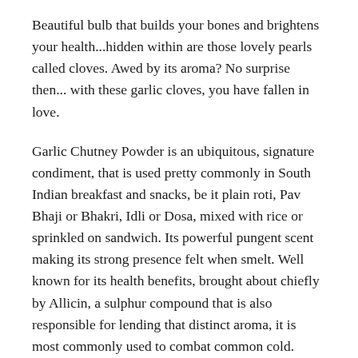Beautiful bulb that builds your bones and brightens your health...hidden within are those lovely pearls called cloves. Awed by its aroma? No surprise then... with these garlic cloves, you have fallen in love.
Garlic Chutney Powder is an ubiquitous, signature condiment, that is used pretty commonly in South Indian breakfast and snacks, be it plain roti, Pav Bhaji or Bhakri, Idli or Dosa, mixed with rice or sprinkled on sandwich. Its powerful pungent scent making its strong presence felt when smelt. Well known for its health benefits, brought about chiefly by Allicin, a sulphur compound that is also responsible for lending that distinct aroma, it is most commonly used to combat common cold.